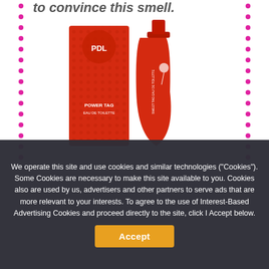to convince this smell.
[Figure (photo): Red perfume product – box and bottle of 'Power TAG' fragrance, both in orange-red color with decorative pattern]
We operate this site and use cookies and similar technologies ("Cookies"). Some Cookies are necessary to make this site available to you. Cookies also are used by us, advertisers and other partners to serve ads that are more relevant to your interests. To agree to the use of Interest-Based Advertising Cookies and proceed directly to the site, click I Accept below.
Accept